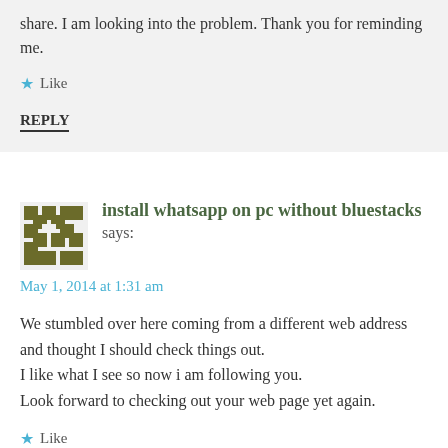share. I am looking into the problem. Thank you for reminding me.
Like
REPLY
install whatsapp on pc without bluestacks says:
May 1, 2014 at 1:31 am
We stumbled over here coming from a different web address and thought I should check things out. I like what I see so now i am following you. Look forward to checking out your web page yet again.
Like